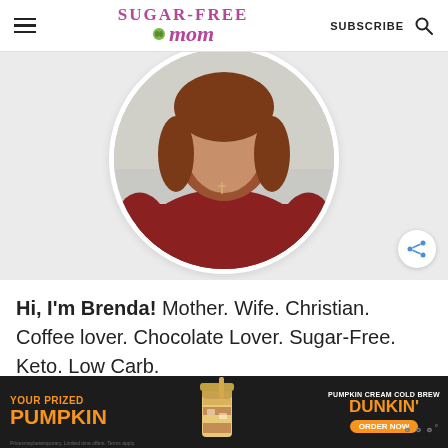Sugar-Free Mom — SUBSCRIBE
[Figure (photo): Profile photo of a woman with brown wavy hair wearing a dark red long-sleeve shirt and a small cross necklace, cropped in a circle, with a blurred kitchen background.]
Hi, I'm Brenda! Mother. Wife. Christian. Coffee lover. Chocolate Lover. Sugar-Free. Keto. Low Carb.
[Figure (infographic): Advertisement banner: dark background with orange text reading 'YOUR PRIZED PUMPKIN' on the left, a photo of a Dunkin' Pumpkin Cream Cold Brew in the center, and 'PUMPKIN CREAM COLD BREW DUNKIN' ORDER NOW' on the right.]